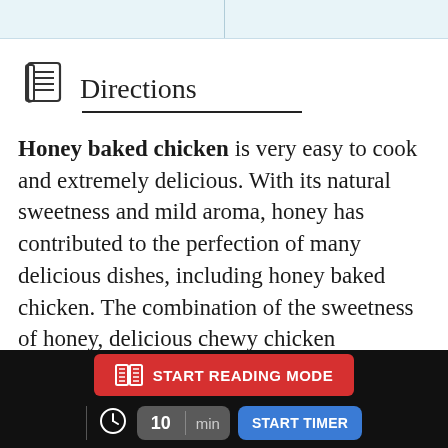Directions
Honey baked chicken is very easy to cook and extremely delicious. With its natural sweetness and mild aroma, honey has contributed to the perfection of many delicious dishes, including honey baked chicken. The combination of the sweetness of honey, delicious chewy chicken
[Figure (screenshot): Bottom app bar with red 'START READING MODE' button and blue 'START TIMER' button with a timer showing 10 min]
START READING MODE | 10 min | START TIMER